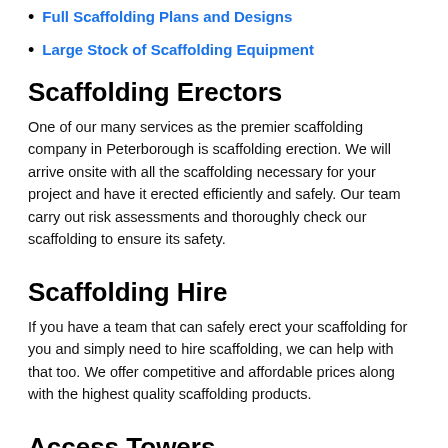Full Scaffolding Plans and Designs
Large Stock of Scaffolding Equipment
Scaffolding Erectors
One of our many services as the premier scaffolding company in Peterborough is scaffolding erection. We will arrive onsite with all the scaffolding necessary for your project and have it erected efficiently and safely. Our team carry out risk assessments and thoroughly check our scaffolding to ensure its safety.
Scaffolding Hire
If you have a team that can safely erect your scaffolding for you and simply need to hire scaffolding, we can help with that too. We offer competitive and affordable prices along with the highest quality scaffolding products.
Access Towers
An access tower is a temporary staircase that is constructed to make it safer and easier for workers to reach different levels of a